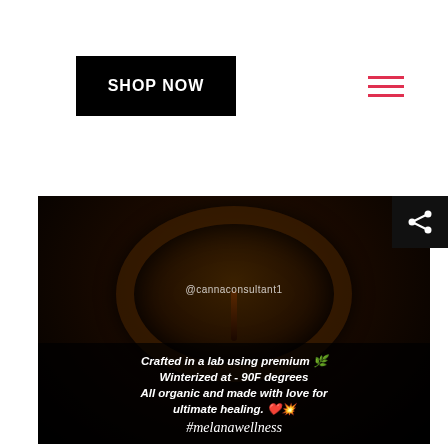SHOP NOW
[Figure (photo): Close-up photo of a dark liquid (cannabis extract/oil) in a jar with a drip, showing text overlay: '@cannaconsultant1', 'Crafted in a lab using premium [leaf emoji] Winterized at - 90F degrees All organic and made with love for ultimate healing. [heart emoji][sparkle emoji]' and '#melanawellness']